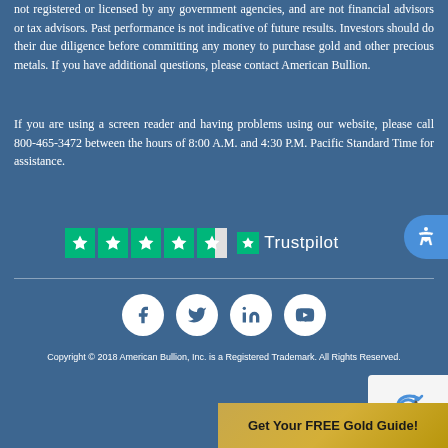not registered or licensed by any government agencies, and are not financial advisors or tax advisors. Past performance is not indicative of future results. Investors should do their due diligence before committing any money to purchase gold and other precious metals. If you have additional questions, please contact American Bullion.
If you are using a screen reader and having problems using our website, please call 800-465-3472 between the hours of 8:00 A.M. and 4:30 P.M. Pacific Standard Time for assistance.
[Figure (logo): Trustpilot rating with 4.5 green stars and Trustpilot logo]
[Figure (infographic): Social media icons: Facebook, Twitter, LinkedIn, YouTube - white circles on blue background]
Copyright © 2018 American Bullion, Inc. is a Registered Trademark. All Rights Reserved.
[Figure (other): reCAPTCHA widget partial]
[Figure (other): Get Your FREE Gold Guide! button with gold/tan background]